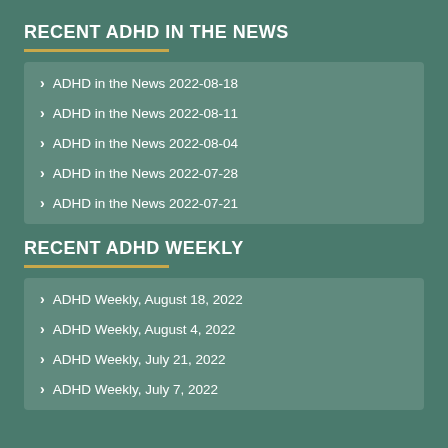RECENT ADHD IN THE NEWS
ADHD in the News 2022-08-18
ADHD in the News 2022-08-11
ADHD in the News 2022-08-04
ADHD in the News 2022-07-28
ADHD in the News 2022-07-21
RECENT ADHD WEEKLY
ADHD Weekly, August 18, 2022
ADHD Weekly, August 4, 2022
ADHD Weekly, July 21, 2022
ADHD Weekly, July 7, 2022